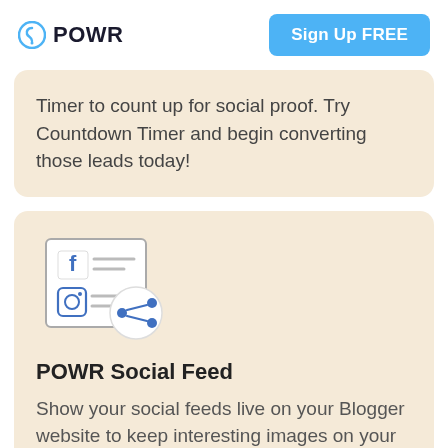POWR | Sign Up FREE
Timer to count up for social proof. Try Countdown Timer and begin converting those leads today!
[Figure (illustration): Social Feed product icon showing a social media feed card with Facebook and Instagram icons, overlaid with a share icon circle]
POWR Social Feed
Show your social feeds live on your Blogger website to keep interesting images on your pages. You can Show posts in a beautiful gallery layout or you can setup and use a slider. Add interesting effects like a lightbox